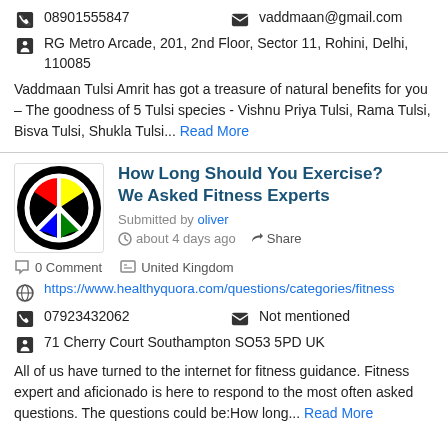08901555847   vaddmaan@gmail.com
RG Metro Arcade, 201, 2nd Floor, Sector 11, Rohini, Delhi, 110085
Vaddmaan Tulsi Amrit has got a treasure of natural benefits for you – The goodness of 5 Tulsi species - Vishnu Priya Tulsi, Rama Tulsi, Bisva Tulsi, Shukla Tulsi... Read More
How Long Should You Exercise? We Asked Fitness Experts
Submitted by oliver
about 4 days ago   Share
0 Comment   United Kingdom
https://www.healthyquora.com/questions/categories/fitness
07923432062   Not mentioned
71 Cherry Court Southampton SO53 5PD UK
All of us have turned to the internet for fitness guidance. Fitness expert and aficionado is here to respond to the most often asked questions. The questions could be:How long... Read More